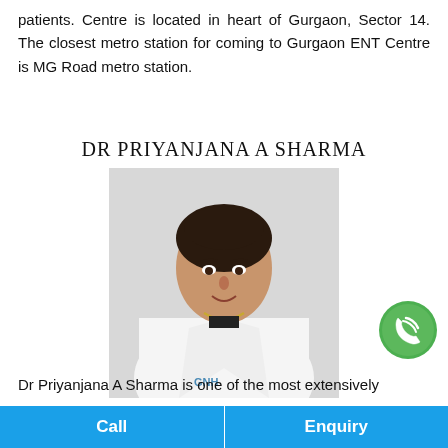patients. Centre is located in heart of Gurgaon, Sector 14. The closest metro station for coming to Gurgaon ENT Centre is MG Road metro station.
DR PRIYANJANA A SHARMA
[Figure (photo): Professional photo of Dr Priyanjana A Sharma in white lab coat with GNH hospital logo, smiling, hair pulled back, gold necklace]
[Figure (logo): WhatsApp green circular icon with phone handset]
Dr Priyanjana A Sharma is one of the most extensively
Call    Enquiry